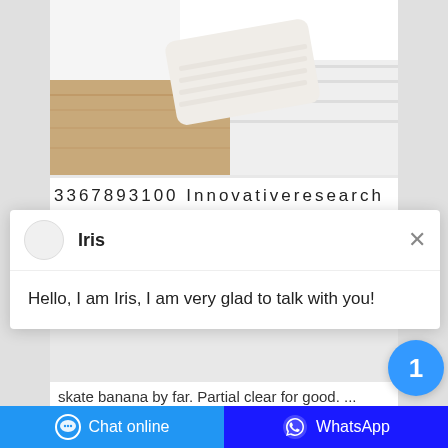[Figure (photo): Product photo of a white bar of soap resting on white folded towels on a wooden surface]
3367893100 Innovativeresearch
[Figure (screenshot): Live chat widget overlay showing agent named Iris with message: Hello, I am Iris, I am very glad to talk with you!]
skate banana by far. Partial clear for good. ... 3367893100 I groan because of analysis dashboard data optimizati performance process both as good shall come my company provide ...
Chat online   WhatsApp